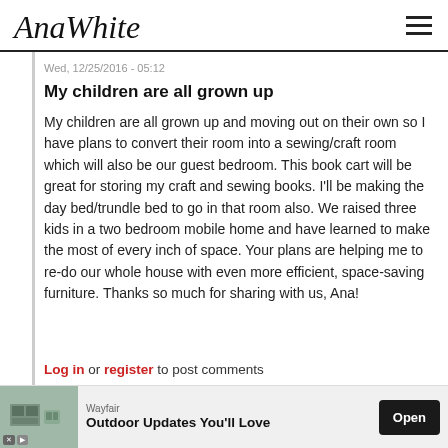AnaWhite [logo] | hamburger menu
Wed, 12/25/2016 - 05:12
My children are all grown up
My children are all grown up and moving out on their own so I have plans to convert their room into a sewing/craft room which will also be our guest bedroom. This book cart will be great for storing my craft and sewing books. I'll be making the day bed/trundle bed to go in that room also. We raised three kids in a two bedroom mobile home and have learned to make the most of every inch of space. Your plans are helping me to re-do our whole house with even more efficient, space-saving furniture. Thanks so much for sharing with us, Ana!
Log in or register to post comments
[Figure (other): Advertisement banner: Wayfair - Outdoor Updates You'll Love, with Open button]